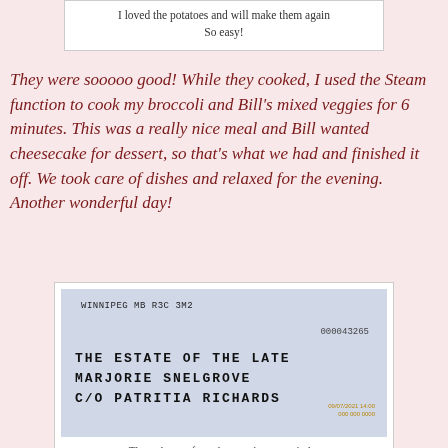I loved the potatoes and will make them again
So easy!
They were sooooo good! While they cooked, I used the Steam function to cook my broccoli and Bill’s mixed veggies for 6 minutes. This was a really nice meal and Bill wanted cheesecake for dessert, so that’s what we had and finished it off. We took care of dishes and relaxed for the evening. Another wonderful day!
[Figure (photo): Photo of an envelope addressed to: WINNIPEG MB R3C 3M2, number 000043265, THE ESTATE OF THE LATE MARJORIE SNELGROVE C/O PATRITIA RICHARDS, with a date stamp 09/07/2021 14:00]
The sad part of my day was just a reminder
When I picked up the mail, Mom’s last Notice of Assessment arrived from Revenue Canada
This made it all real again.